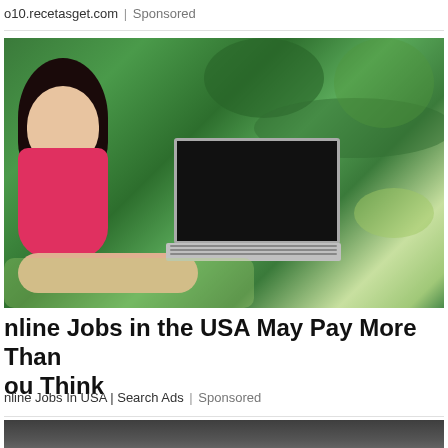o10.recetasget.com | Sponsored
[Figure (photo): Young woman with dark hair sitting on grass outdoors, smiling at camera, using a laptop computer. She is wearing a red top. The background is green foliage.]
Online Jobs in the USA May Pay More Than You Think
Online Jobs In USA | Search Ads | Sponsored
[Figure (photo): Partial view of another advertisement image at the bottom of the page, showing a dark background with the top of a person's head visible.]